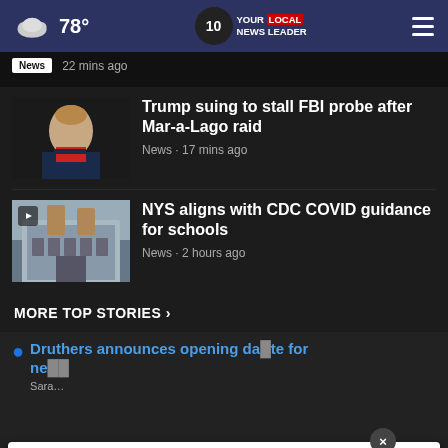78° | NEWS 10 YOUR LOCAL NEWS LEADER
News · 22 mins ago
Trump suing to stall FBI probe after Mar-a-Lago raid
News · 17 mins ago
NYS aligns with CDC COVID guidance for schools
News · 2 hours ago
MORE TOP STORIES ›
Druthers announces opening date for new…
Sara…
Gloversville PD looking for car involved